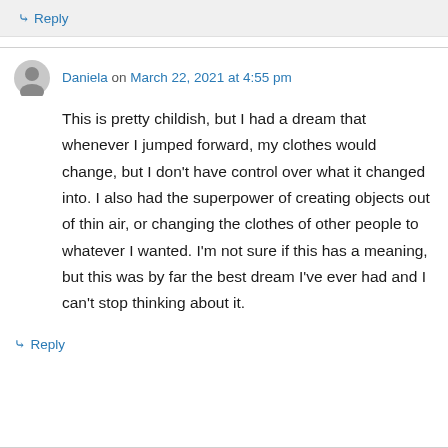↳ Reply
Daniela on March 22, 2021 at 4:55 pm
This is pretty childish, but I had a dream that whenever I jumped forward, my clothes would change, but I don't have control over what it changed into. I also had the superpower of creating objects out of thin air, or changing the clothes of other people to whatever I wanted. I'm not sure if this has a meaning, but this was by far the best dream I've ever had and I can't stop thinking about it.
↳ Reply